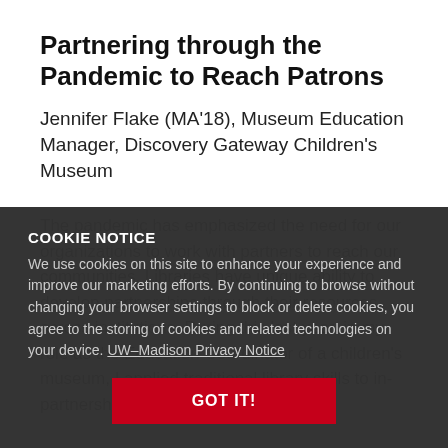Partnering through the Pandemic to Reach Patrons
Jennifer Flake (MA'18), Museum Education Manager, Discovery Gateway Children's Museum
The pandemic has emphasized the need for our organizations to work with partners to reach our communities. Libraries have unique ability to develop partnerships through their resources across institutions. During this last year, in my role as the Education Coordinator of a children's museum, I applied traditional library skills to increase our partnerships.
COOKIE NOTICE
We use cookies on this site to enhance your experience and improve our marketing efforts. By continuing to browse without changing your browser settings to block or delete cookies, you agree to the storing of cookies and related technologies on your device. UW–Madison Privacy Notice
GOT IT!